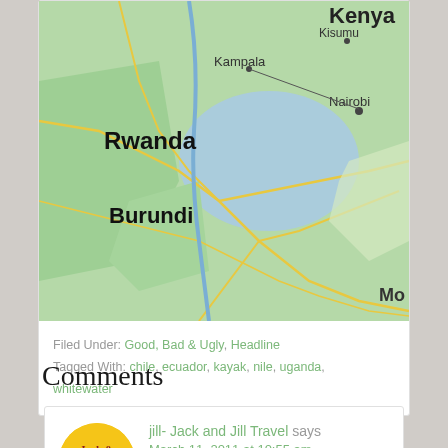[Figure (map): Map showing East Africa region including Rwanda, Burundi, Uganda (Kampala), Kenya (Nairobi), Kisumu, and partial label 'Mo'. Roads shown in yellow on green terrain with blue water bodies. A line connects inland area to Nairobi.]
Filed Under: Good, Bad & Ugly, Headline
Tagged With: chile, ecuador, kayak, nile, uganda, whitewater
Comments
jill- Jack and Jill Travel says
March 11, 2011 at 10:55 am
They all sound like fun activities! We'd love to do